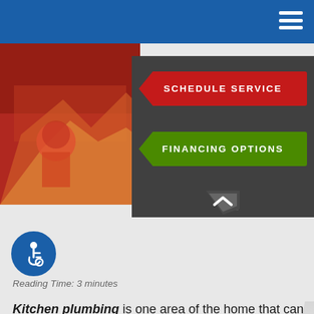[Figure (screenshot): Blue navigation header bar with hamburger menu icon (three white horizontal lines) on the right]
[Figure (photo): Hero image showing a kitchen scene with red and warm color tones, partially visible figures]
[Figure (infographic): Dark panel with two call-to-action buttons: red 'SCHEDULE SERVICE' button with arrow shape and green 'FINANCING OPTIONS' button with arrow shape, and a chevron/up-arrow at the bottom center]
[Figure (illustration): Circular blue accessibility icon (wheelchair user symbol)]
Reading Time: 3 minutes
Kitchen plumbing is one area of the home that can be used to transform your kitchen into an enjoyable workspace with a bonus of having a nice aesthetic. Your kitchen faucet is one area of your kitchen plumbing that can make a difference to the overall feel